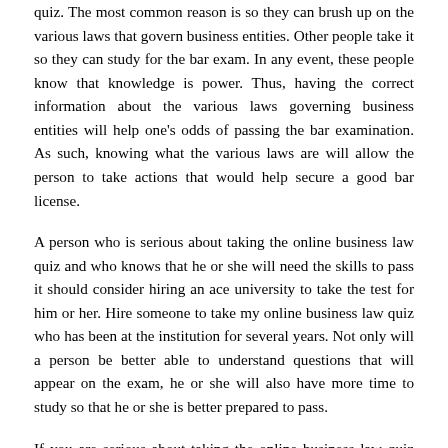quiz. The most common reason is so they can brush up on the various laws that govern business entities. Other people take it so they can study for the bar exam. In any event, these people know that knowledge is power. Thus, having the correct information about the various laws governing business entities will help one's odds of passing the bar examination. As such, knowing what the various laws are will allow the person to take actions that would help secure a good bar license.
A person who is serious about taking the online business law quiz and who knows that he or she will need the skills to pass it should consider hiring an ace university to take the test for him or her. Hire someone to take my online business law quiz who has been at the institution for several years. Not only will a person be better able to understand questions that will appear on the exam, he or she will also have more time to study so that he or she is better prepared to pass.
If you are serious about taking the online business law quiz and think you might want to take the test when it comes to your state, then you may want to seriously consider paying for the tests. Although you will have to pay to take them, you will be able to get many more chances to take them when you pay for them. Furthermore, if you are serious about taking the